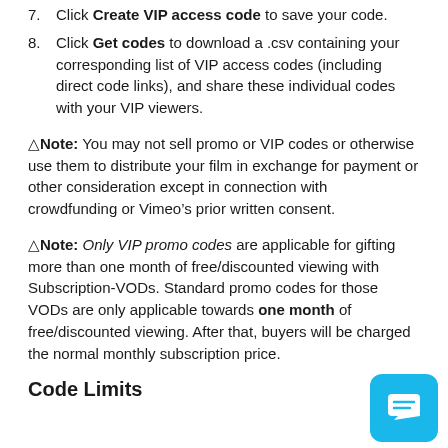7. Click Create VIP access code to save your code.
8. Click Get codes to download a .csv containing your corresponding list of VIP access codes (including direct code links), and share these individual codes with your VIP viewers.
⚠Note: You may not sell promo or VIP codes or otherwise use them to distribute your film in exchange for payment or other consideration except in connection with crowdfunding or Vimeo’s prior written consent.
⚠Note: Only VIP promo codes are applicable for gifting more than one month of free/discounted viewing with Subscription-VODs. Standard promo codes for those VODs are only applicable towards one month of free/discounted viewing. After that, buyers will be charged the normal monthly subscription price.
Code Limits